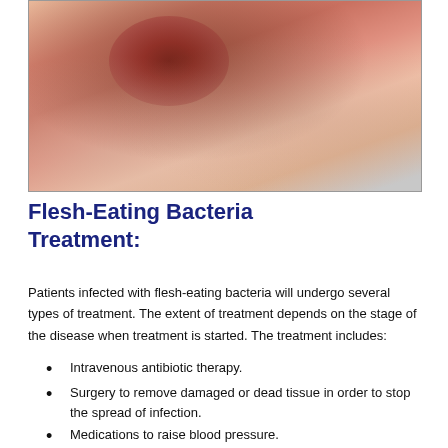[Figure (photo): Close-up clinical photograph of a skin/tissue wound area showing reddened and damaged flesh, consistent with necrotizing fasciitis (flesh-eating bacteria) infection on a patient's body.]
Flesh-Eating Bacteria Treatment:
Patients infected with flesh-eating bacteria will undergo several types of treatment. The extent of treatment depends on the stage of the disease when treatment is started. The treatment includes:
Intravenous antibiotic therapy.
Surgery to remove damaged or dead tissue in order to stop the spread of infection.
Medications to raise blood pressure.